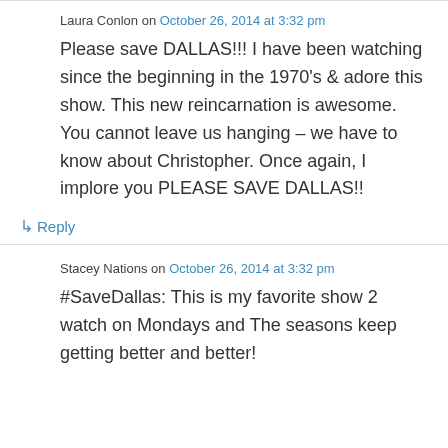Laura Conlon on October 26, 2014 at 3:32 pm
Please save DALLAS!!! I have been watching since the beginning in the 1970's & adore this show. This new reincarnation is awesome. You cannot leave us hanging – we have to know about Christopher. Once again, I implore you PLEASE SAVE DALLAS!!
↳ Reply
Stacey Nations on October 26, 2014 at 3:32 pm
#SaveDallas: This is my favorite show 2 watch on Mondays and The seasons keep getting better and better!